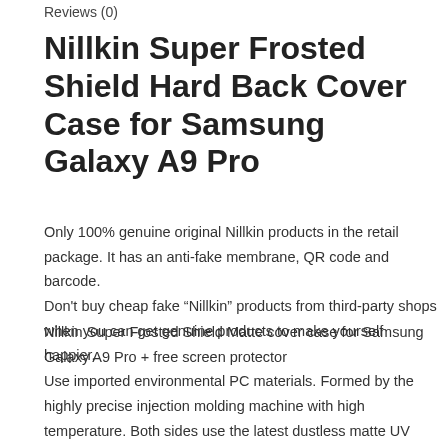Reviews (0)
Nillkin Super Frosted Shield Hard Back Cover Case for Samsung Galaxy A9 Pro
Only 100% genuine original Nillkin products in the retail package. It has an anti-fake membrane, QR code and barcode.
Don't buy cheap fake “Nillkin” products from third-party shops when you can get genuine products to make yourself happier.
Nillkin Super Frosted Shield Matte cover case for Samsung Galaxy A9 Pro + free screen protector
Use imported environmental PC materials. Formed by the highly precise injection molding machine with high temperature. Both sides use the latest dustless matte UV painting technology, with a comfortable sense of touch and elegant appearance. The rigidity is good enough not to transfer and break off easily. Open mold